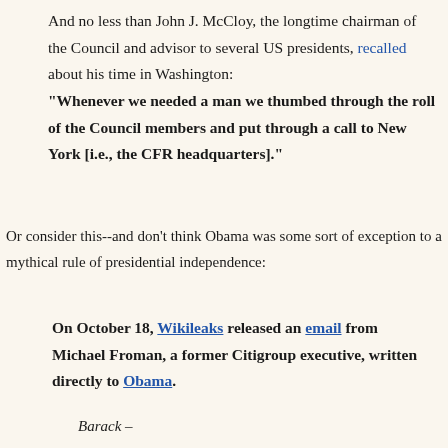And no less than John J. McCloy, the longtime chairman of the Council and advisor to several US presidents, recalled about his time in Washington: "Whenever we needed a man we thumbed through the roll of the Council members and put through a call to New York [i.e., the CFR headquarters]."
Or consider this--and don't think Obama was some sort of exception to a mythical rule of presidential independence:
On October 18, Wikileaks released an email from Michael Froman, a former Citigroup executive, written directly to Obama.
Barack –